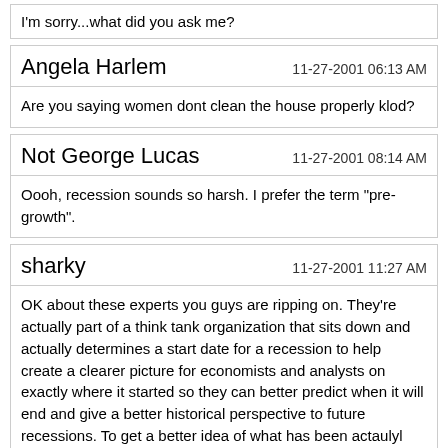I'm sorry...what did you ask me?
Angela Harlem
11-27-2001 06:13 AM
Are you saying women dont clean the house properly klod?
Not George Lucas
11-27-2001 08:14 AM
Oooh, recession sounds so harsh. I prefer the term "pre-growth".
sharky
11-27-2001 11:27 AM
OK about these experts you guys are ripping on. They're actually part of a think tank organization that sits down and actually determines a start date for a recession to help create a clearer picture for economists and analysts on exactly where it started so they can better predict when it will end and give a better historical perspective to future recessions. To get a better idea of what has been actaulyl accomplished with this report go to nber.org.

Everyone knows we've been in a recession for awhile. Hence all the rate cuts by the Federal Reserve, which have been more deeper and more frequent than in previous years.